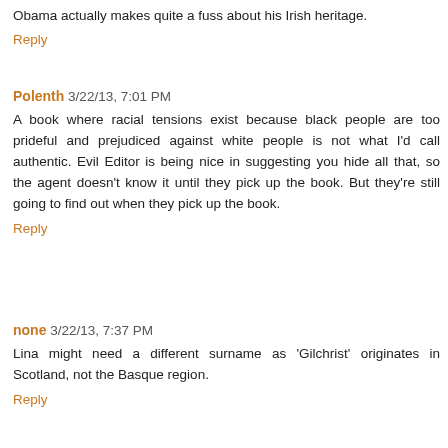Obama actually makes quite a fuss about his Irish heritage.
Reply
Polenth 3/22/13, 7:01 PM
A book where racial tensions exist because black people are too prideful and prejudiced against white people is not what I'd call authentic. Evil Editor is being nice in suggesting you hide all that, so the agent doesn't know it until they pick up the book. But they're still going to find out when they pick up the book.
Reply
none 3/22/13, 7:37 PM
Lina might need a different surname as 'Gilchrist' originates in Scotland, not the Basque region.
Reply